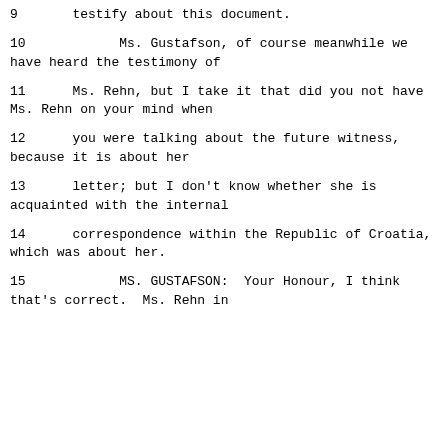9       testify about this document.
10             Ms. Gustafson, of course meanwhile we have heard the testimony of
11       Ms. Rehn, but I take it that did you not have Ms. Rehn on your mind when
12       you were talking about the future witness, because it is about her
13       letter; but I don't know whether she is acquainted with the internal
14       correspondence within the Republic of Croatia, which was about her.
15             MS. GUSTAFSON:  Your Honour, I think that's correct.  Ms. Rehn in